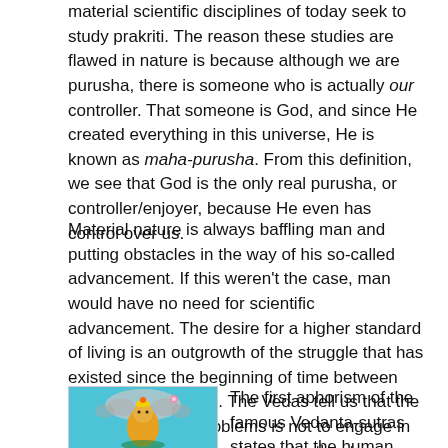material scientific disciplines of today seek to study prakriti. The reason these studies are flawed in nature is because although we are purusha, there is someone who is actually our controller. That someone is God, and since He created everything in this universe, He is known as maha-purusha. From this definition, we see that God is the only real purusha, or controller/enjoyer, because He even has control over us.
Material nature is always baffling man and putting obstacles in the way of his so-called advancement. If this weren't the case, man would have no need for scientific advancement. The desire for a higher standard of living is an outgrowth of the struggle that has existed since the beginning of time between mankind and nature. The Vedas tell us that the solution to these problems is not to engage in an intense study of matter, but rather to understand the nature of spirit.
[Figure (illustration): Colorful illustration of a multi-headed deity (likely Vishnu on Shesha serpent) against a turquoise background with decorative elements]
The first aphorism of the famous Vedanta-sutras states that the human form of life is meant for inquiring about Brahman, or God. Brahman is one of God's features; a sort of angle of vision which represents the